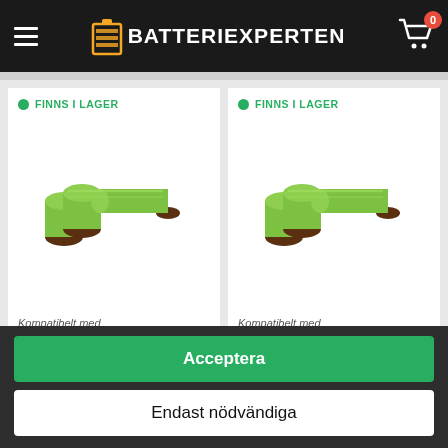BATTERIEXPERTEN
FINNS I LAGER
[Figure (photo): Green rechargeable battery pack, two cylindrical cells side by side]
Kompatibelt med
SOEHNLE SCALE 7743,
FINNS I LAGER
[Figure (photo): Green rechargeable battery pack, two cylindrical cells side by side]
Kompatibelt med
SOEHNLE 7742, 7.2V, 1600
Acceptera
Endast nödvändiga